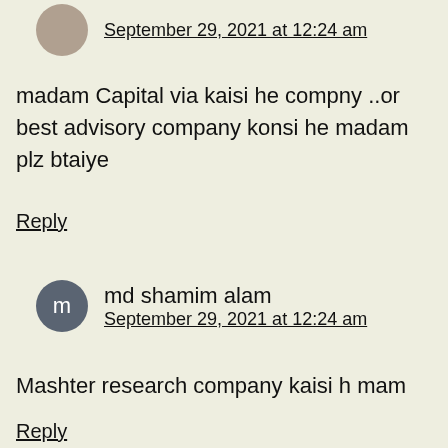September 29, 2021 at 12:24 am
madam Capital via kaisi he compny ..or best advisory company konsi he madam plz btaiye
Reply
md shamim alam
September 29, 2021 at 12:24 am
Mashter research company kaisi h mam
Reply